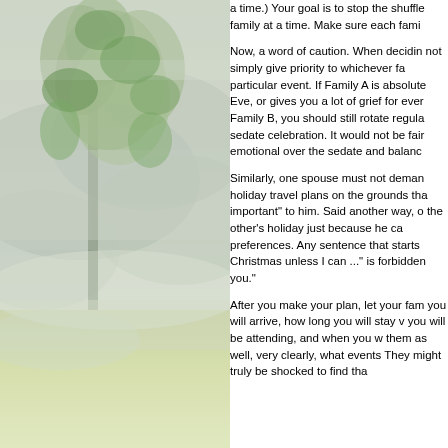[Figure (photo): A nature photograph showing a tree with green leaves against a misty/foggy sky background, with green grass visible in the lower portion. The image has a soft, faded quality with grey-white mist.]
a time.) Your goal is to stop the shuffle family at a time. Make sure each fami Now, a word of caution. When decidin not simply give priority to whichever fa particular event. If Family A is absolute Eve, or gives you a lot of grief for ever Family B, you should still rotate regula sedate celebration. It would not be fair emotional over the sedate and balanc Similarly, one spouse must not deman holiday travel plans on the grounds tha important" to him. Said another way, o the other's holiday just because he ca preferences. Any sentence that starts Christmas unless I can ..." is forbidden you." After you make your plan, let your fam you will arrive, how long you will stay v you will be attending, and when you w them as well, very clearly, what events They might truly be shocked to find tha